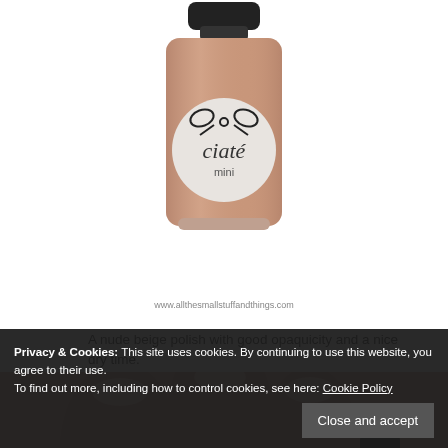[Figure (photo): A Ciaté mini nail polish bottle with a nude beige color, black cap, and round label with bow logo. Watermark: www.allthesmallstuffandthings.com]
A nude beige polish with good opaquicity and a nice dry time.
[Figure (photo): Close-up photo of a hand holding a Ciaté mini nail polish bottle, nails painted in a nude beige color.]
Privacy & Cookies: This site uses cookies. By continuing to use this website, you agree to their use.
To find out more, including how to control cookies, see here: Cookie Policy
Close and accept